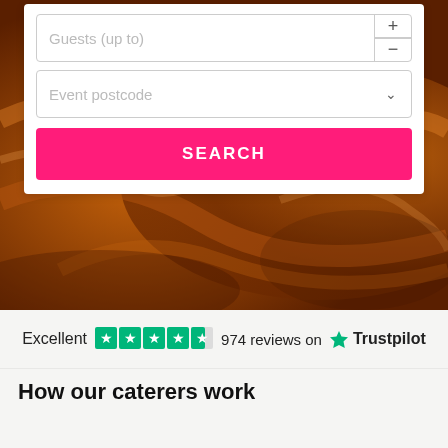[Figure (screenshot): Chocolate fondue/melted chocolate background image behind a search widget card]
Guests (up to)
Event postcode
SEARCH
Excellent  974 reviews on  Trustpilot
How our caterers work